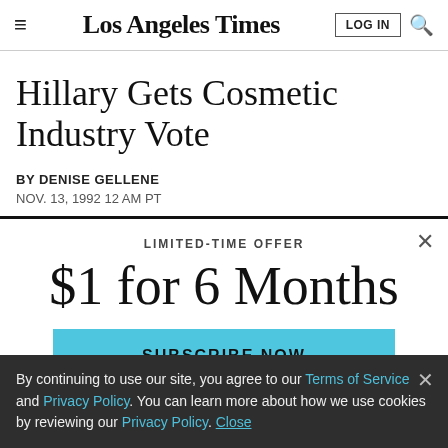Los Angeles Times
Hillary Gets Cosmetic Industry Vote
BY DENISE GELLENE
NOV. 13, 1992 12 AM PT
LIMITED-TIME OFFER
$1 for 6 Months
SUBSCRIBE NOW
By continuing to use our site, you agree to our Terms of Service and Privacy Policy. You can learn more about how we use cookies by reviewing our Privacy Policy. Close